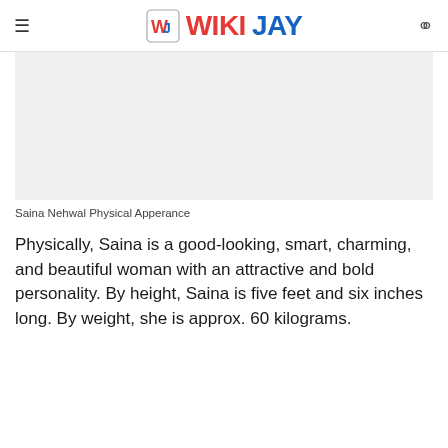WIKIJAY
[Figure (photo): Image placeholder for Saina Nehwal Physical Appearance]
Saina Nehwal Physical Apperance
Physically, Saina is a good-looking, smart, charming, and beautiful woman with an attractive and bold personality. By height, Saina is five feet and six inches long. By weight, she is approx. 60 kilograms.